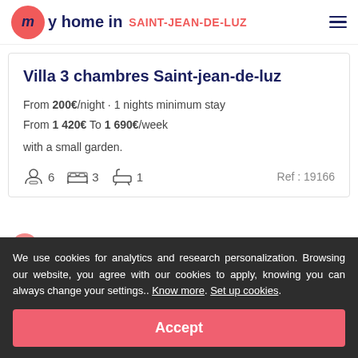my home in SAINT-JEAN-DE-LUZ
Villa 3 chambres Saint-jean-de-luz
From 200€/night · 1 nights minimum stay
From 1 420€ To 1 690€/week
with a small garden.
6  3  1  Ref : 19166
We use cookies for analytics and research personalization. Browsing our website, you agree with our cookies to apply, knowing you can always change your settings.. Know more. Set up cookies.
Accept